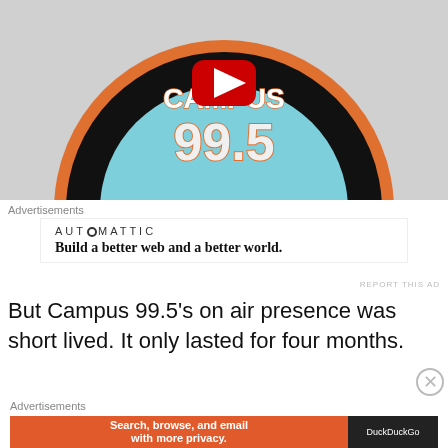[Figure (screenshot): YouTube video thumbnail showing Campus 99.5 Hit Music Station radio logo — a circular logo with orange outer ring, black inner ring, light blue center, text '99.5' and 'HIT MUSIC STATION', with a red YouTube play button overlay. Background is light gray.]
Advertisements
[Figure (logo): Automattic advertisement: AUTOMATTIC logo with tagline 'Build a better web and a better world.']
REPORT THIS AD
But Campus 99.5's on air presence was short lived. It only lasted for four months.
Advertisements
[Figure (screenshot): DuckDuckGo advertisement: orange background with text 'Search, browse, and email with more privacy. All in One Free App' and DuckDuckGo logo on dark background.]